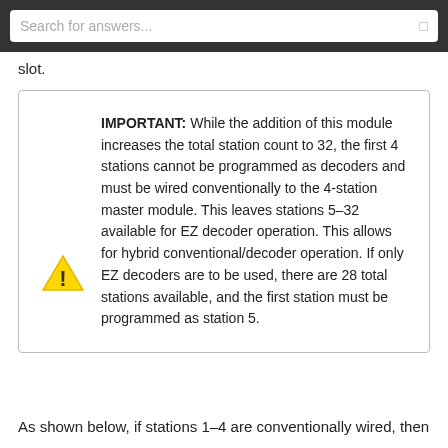Search for answers...
slot.
IMPORTANT: While the addition of this module increases the total station count to 32, the first 4 stations cannot be programmed as decoders and must be wired conventionally to the 4-station master module. This leaves stations 5–32 available for EZ decoder operation. This allows for hybrid conventional/decoder operation. If only EZ decoders are to be used, there are 28 total stations available, and the first station must be programmed as station 5.
As shown below, if stations 1–4 are conventionally wired, then